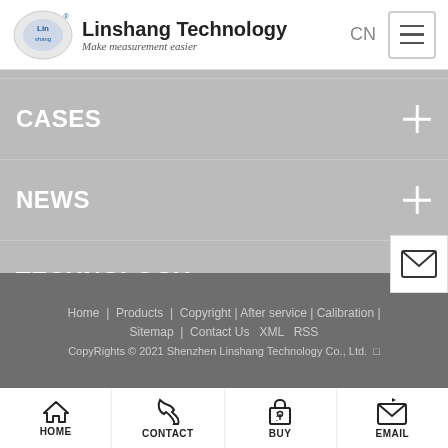[Figure (logo): Linshang Technology logo with circular shield icon and brand name/tagline]
CASES +
NEWS +
TECHNOLOGY +
ABOUT US +
Home | Products | Copyright | After service | Calibration | Sitemap | Contact Us  XML  RSS
CopyRights © 2021 Shenzhen Linshang Technology Co., Ltd.
HOME  CONTACT  BUY  EMAIL